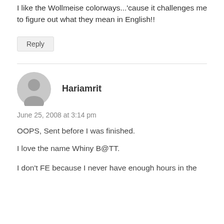I like the Wollmeise colorways...'cause it challenges me to figure out what they mean in English!!
Reply
Hariamrit
June 25, 2008 at 3:14 pm
OOPS, Sent before I was finished.
I love the name Whiny B@TT.
I don't FE because I never have enough hours in the